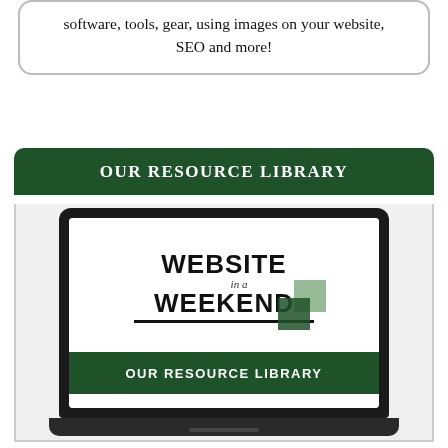software, tools, gear, using images on your website, SEO and more!
OUR RESOURCE LIBRARY
[Figure (illustration): Laptop screen displaying the 'Website in a Weekend' logo with overlapping green square graphics, and a dark green banner reading 'OUR RESOURCE LIBRARY']